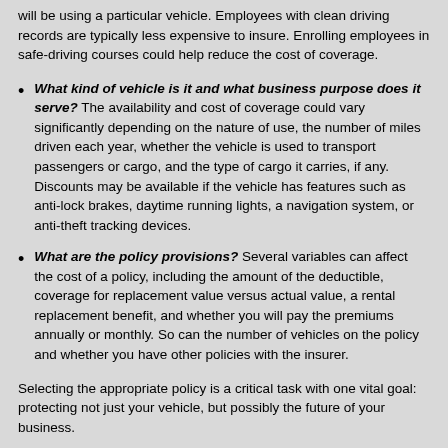will be using a particular vehicle. Employees with clean driving records are typically less expensive to insure. Enrolling employees in safe-driving courses could help reduce the cost of coverage.
What kind of vehicle is it and what business purpose does it serve? The availability and cost of coverage could vary significantly depending on the nature of use, the number of miles driven each year, whether the vehicle is used to transport passengers or cargo, and the type of cargo it carries, if any. Discounts may be available if the vehicle has features such as anti-lock brakes, daytime running lights, a navigation system, or anti-theft tracking devices.
What are the policy provisions? Several variables can affect the cost of a policy, including the amount of the deductible, coverage for replacement value versus actual value, a rental replacement benefit, and whether you will pay the premiums annually or monthly. So can the number of vehicles on the policy and whether you have other policies with the insurer.
Selecting the appropriate policy is a critical task with one vital goal: protecting not just your vehicle, but possibly the future of your business.